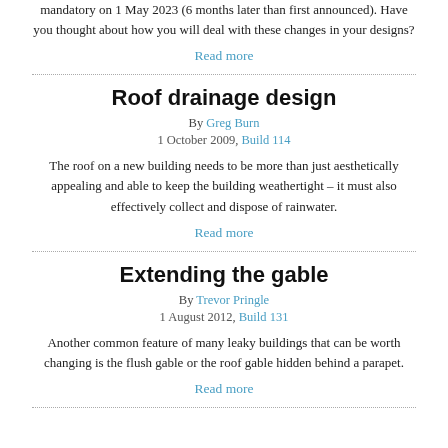mandatory on 1 May 2023 (6 months later than first announced). Have you thought about how you will deal with these changes in your designs?
Read more
Roof drainage design
By Greg Burn
1 October 2009, Build 114
The roof on a new building needs to be more than just aesthetically appealing and able to keep the building weathertight – it must also effectively collect and dispose of rainwater.
Read more
Extending the gable
By Trevor Pringle
1 August 2012, Build 131
Another common feature of many leaky buildings that can be worth changing is the flush gable or the roof gable hidden behind a parapet.
Read more